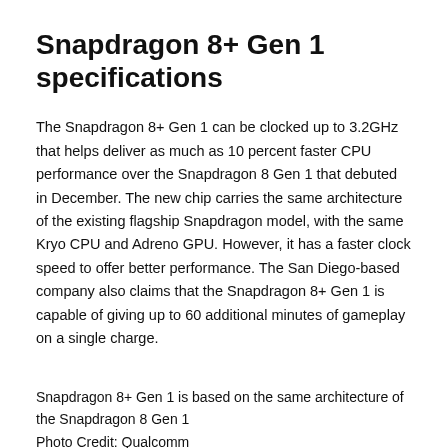Snapdragon 8+ Gen 1 specifications
The Snapdragon 8+ Gen 1 can be clocked up to 3.2GHz that helps deliver as much as 10 percent faster CPU performance over the Snapdragon 8 Gen 1 that debuted in December. The new chip carries the same architecture of the existing flagship Snapdragon model, with the same Kryo CPU and Adreno GPU. However, it has a faster clock speed to offer better performance. The San Diego-based company also claims that the Snapdragon 8+ Gen 1 is capable of giving up to 60 additional minutes of gameplay on a single charge.
Snapdragon 8+ Gen 1 is based on the same architecture of the Snapdragon 8 Gen 1
Photo Credit: Qualcomm